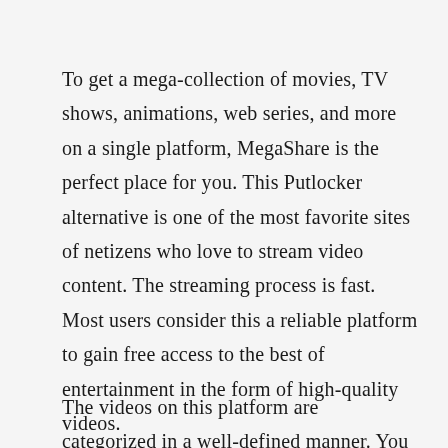To get a mega-collection of movies, TV shows, animations, web series, and more on a single platform, MegaShare is the perfect place for you. This Putlocker alternative is one of the most favorite sites of netizens who love to stream video content. The streaming process is fast. Most users consider this a reliable platform to gain free access to the best of entertainment in the form of high-quality videos.
The videos on this platform are categorized in a well-defined manner. You will find them